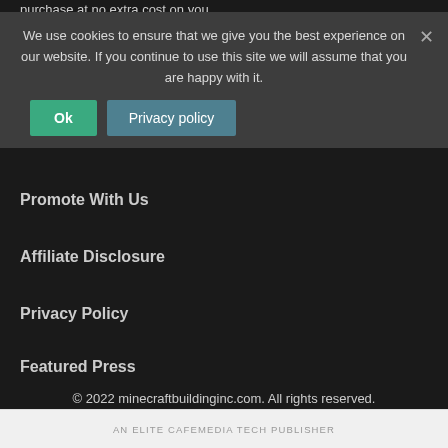purchase at no extra cost on you.
We use cookies to ensure that we give you the best experience on our website. If you continue to use this site we will assume that you are happy with it.
Top 10
Contact Us
Ok
Privacy policy
Friends
Promote With Us
Affiliate Disclosure
Privacy Policy
Featured Press
© 2022 minecraftbuildinginc.com. All rights reserved.
AN ELITE CAFEMEDIA TECH PUBLISHER